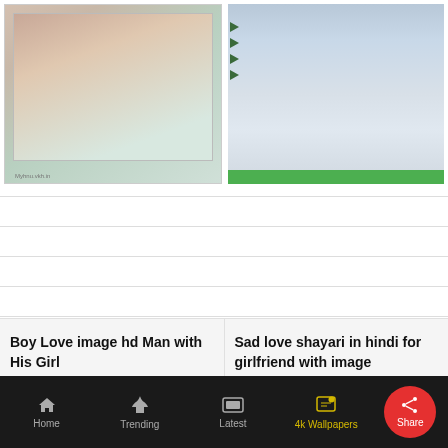[Figure (photo): Woman in lace dress showing back, framed photo style with watermark at bottom left]
[Figure (photo): Couple standing outdoors in winter, dark overlay with green triangles on left edge and green bar at bottom]
Boy Love image hd Man with His Girl
Sad love shayari in hindi for girlfriend with image
[Figure (photo): Dark card with Hindi text: हमारी हर खशी का एहसास तम्हारा हो.]
Home  Trending  Latest  4k Wallpapers  Share